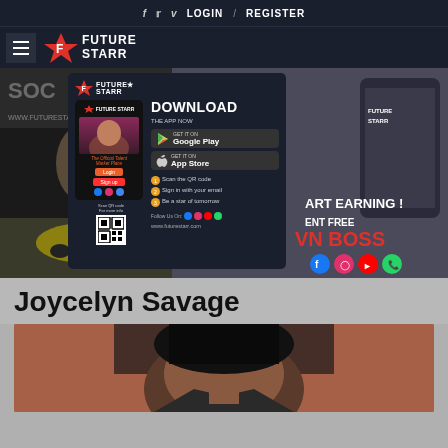f  t  v  LOGIN / REGISTER
[Figure (logo): Future Starr logo with hamburger menu]
[Figure (infographic): FutureStarr promotional banner with app download overlay, Google Play and App Store buttons, steps to scan QR code, social media icons. Text includes: DOWNLOAD THE APP NOW, START EARNING!, TALENT FREE, OWN BOSS, www.futurestarr.com]
Joycelyn Savage
[Figure (photo): Portrait photo of Joycelyn Savage, a woman with dark braided hair, photographed outdoors against a reddish-brick background]